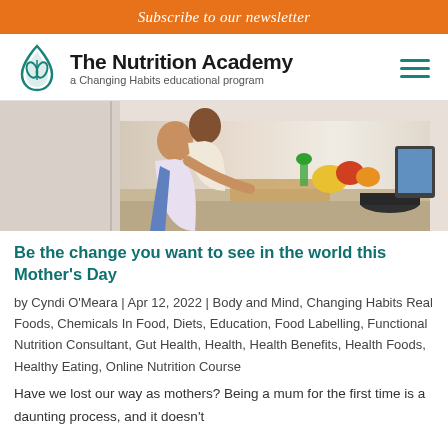Subscribe to our newsletter
[Figure (logo): The Nutrition Academy logo with teal leaf/drop icon and text 'The Nutrition Academy, a Changing Habits educational program']
[Figure (photo): Two people (mother and child) cooking together in a bright kitchen with vegetables on the counter]
Be the change you want to see in the world this Mother's Day
by Cyndi O'Meara | Apr 12, 2022 | Body and Mind, Changing Habits Real Foods, Chemicals In Food, Diets, Education, Food Labelling, Functional Nutrition Consultant, Gut Health, Health, Health Benefits, Health Foods, Healthy Eating, Online Nutrition Course
Have we lost our way as mothers? Being a mum for the first time is a daunting process, and it doesn't